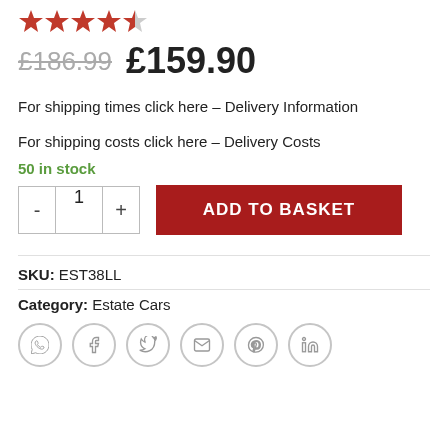[Figure (other): 4.5 out of 5 stars rating (4 full red stars, 1 half red star)]
£186.99  £159.90
For shipping times click here – Delivery Information
For shipping costs click here – Delivery Costs
50 in stock
[Figure (other): Quantity selector with minus and plus buttons showing value 1, and ADD TO BASKET red button]
SKU: EST38LL
Category: Estate Cars
[Figure (other): Social sharing icons: WhatsApp, Facebook, Twitter, Email, Pinterest, LinkedIn]